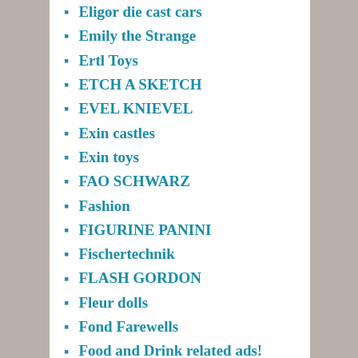Eligor die cast cars
Emily the Strange
Ertl Toys
ETCH A SKETCH
EVEL KNIEVEL
Exin castles
Exin toys
FAO SCHWARZ
Fashion
FIGURINE PANINI
Fischertechnik
FLASH GORDON
Fleur dolls
Fond Farewells
Food and Drink related ads!
FORBIDDEN PLANET STORE
FORCE ONE
G.I. JOE 12 Inch Figures
G.I. JOE 1980s
Galaxy Rangers
Get Along Gang
Ghostbusters/The Ghost Busters